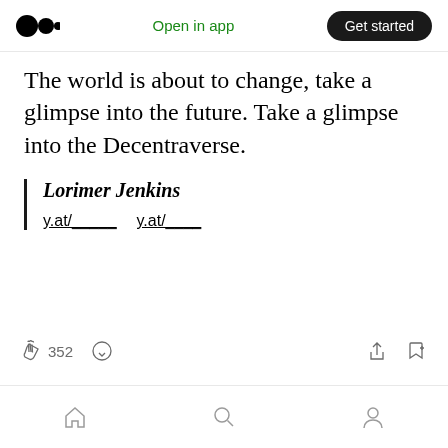Medium logo | Open in app | Get started
The world is about to change, take a glimpse into the future. Take a glimpse into the Decentraverse.
Lorimer Jenkins
y.at/_____ y.at/____
352 claps, comment icon, share icon, bookmark icon
352 | comment
Home | Search | Profile